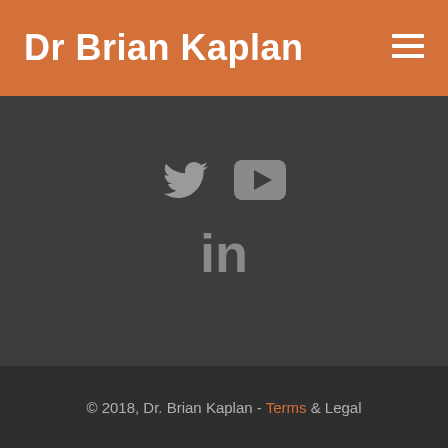Dr Brian Kaplan
[Figure (illustration): Social media icons: Twitter bird icon, YouTube play button icon, and LinkedIn 'in' icon, all in grey on dark background]
© 2018, Dr. Brian Kaplan - Terms & Legal